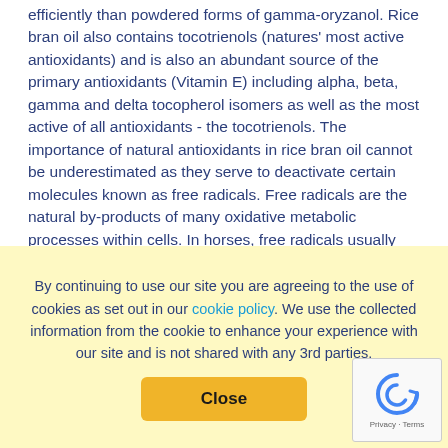efficiently than powdered forms of gamma-oryzanol. Rice bran oil also contains tocotrienols (natures' most active antioxidants) and is also an abundant source of the primary antioxidants (Vitamin E) including alpha, beta, gamma and delta tocopherol isomers as well as the most active of all antioxidants - the tocotrienols. The importance of natural antioxidants in rice bran oil cannot be underestimated as they serve to deactivate certain molecules known as free radicals. Free radicals are the natural by-products of many oxidative metabolic processes within cells. In horses, free radicals usually come in the form of O2, the oxide molecule and if allowed to go unchecked can cause damage to cell walls, certain cell structures, and genetic material within the cells. Hard working horses with high metabolic work rates produce large amounts of metabolic by-products, which include free radicals. The addition of antioxidants to the
By continuing to use our site you are agreeing to the use of cookies as set out in our cookie policy. We use the collected information from the cookie to enhance your experience with our site and is not shared with any 3rd parties.